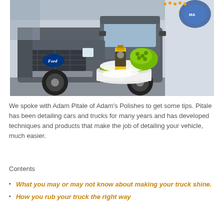[Figure (photo): A Ford pickup truck parked in a lot with car wash products (a yellow bottle of Adam's Polishes car shampoo and a green microfiber wash mitt) displayed on a white bucket in the foreground.]
We spoke with Adam Pitale of Adam's Polishes to get some tips. Pitale has been detailing cars and trucks for many years and has developed techniques and products that make the job of detailing your vehicle, much easier.
Contents
What you may or may not know about making your truck shine.
How you rub your truck the right way